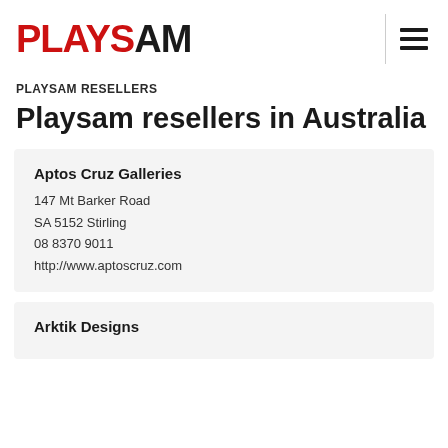PLAYSAM
PLAYSAM RESELLERS
Playsam resellers in Australia
Aptos Cruz Galleries
147 Mt Barker Road
SA 5152 Stirling
08 8370 9011
http://www.aptoscruz.com
Arktik Designs